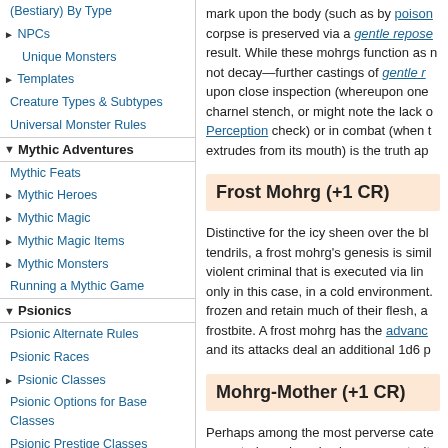(Bestiary) By Type
NPCs
Unique Monsters
Templates
Creature Types & Subtypes
Universal Monster Rules
Mythic Adventures
Mythic Feats
Mythic Heroes
Mythic Magic
Mythic Magic Items
Mythic Monsters
Running a Mythic Game
Psionics
Psionic Alternate Rules
Psionic Races
Psionic Classes
Psionic Options for Base Classes
Psionic Prestige Classes
Psionic Skills
Psionic Feats
Psionic Equipment
mark upon the body (such as by poison corpse is preserved via a gentle repose result. While these mohrgs function as not decay—further castings of gentle r upon close inspection (whereupon one charnel stench, or might note the lack of Perception check) or in combat (when extrudes from its mouth) is the truth ap
Frost Mohrg (+1 CR)
Distinctive for the icy sheen over the blu tendrils, a frost mohrg's genesis is simila violent criminal that is executed via ling only in this case, in a cold environment. frozen and retain much of their flesh, al frostbite. A frost mohrg has the advanc and its attacks deal an additional 1d6 po
Mohrg-Mother (+1 CR)
Perhaps among the most perverse cate executed murderer is also pregnant with